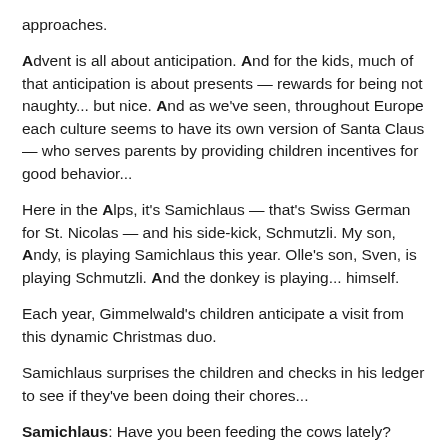approaches.
Advent is all about anticipation. And for the kids, much of that anticipation is about presents — rewards for being not naughty... but nice. And as we've seen, throughout Europe each culture seems to have its own version of Santa Claus — who serves parents by providing children incentives for good behavior...
Here in the Alps, it's Samichlaus — that's Swiss German for St. Nicolas — and his side-kick, Schmutzli. My son, Andy, is playing Samichlaus this year. Olle's son, Sven, is playing Schmutzli. And the donkey is playing... himself.
Each year, Gimmelwald's children anticipate a visit from this dynamic Christmas duo.
Samichlaus surprises the children and checks in his ledger to see if they've been doing their chores...
Samichlaus: Have you been feeding the cows lately?